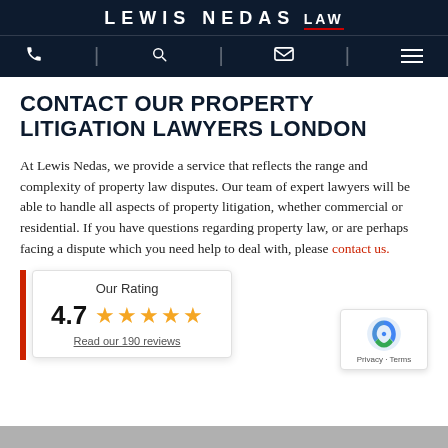LEWIS NEDAS LAW
CONTACT OUR PROPERTY LITIGATION LAWYERS LONDON
At Lewis Nedas, we provide a service that reflects the range and complexity of property law disputes. Our team of expert lawyers will be able to handle all aspects of property litigation, whether commercial or residential. If you have questions regarding property law, or are perhaps facing a dispute which you need help to deal with, please contact us.
[Figure (infographic): Google rating widget showing 4.7 stars out of 5 with 'Our Rating' label and 'Read our 190 reviews' link. Also shows a reCAPTCHA Privacy Terms badge.]